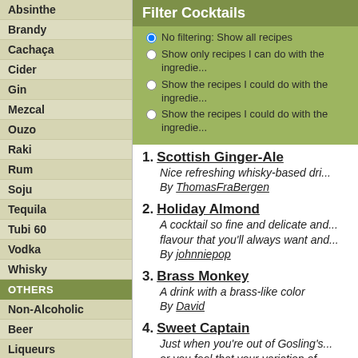Absinthe
Brandy
Cachaça
Cider
Gin
Mezcal
Ouzo
Raki
Rum
Soju
Tequila
Tubi 60
Vodka
Whisky
OTHERS
Non-Alcoholic
Beer
Liqueurs
Wine
Filter Cocktails
No filtering: Show all recipes
Show only recipes I can do with the ingredie...
Show the recipes I could do with the ingredie...
Show the recipes I could do with the ingredie...
1. Scottish Ginger-Ale
Nice refreshing whisky-based dri...
By ThomasFraBergen
2. Holiday Almond
A cocktail so fine and delicate and...
flavour that you'll always want and...
By johnniepop
3. Brass Monkey
A drink with a brass-like color
By David
4. Sweet Captain
Just when you're out of Gosling's...
or you feel that your variation of